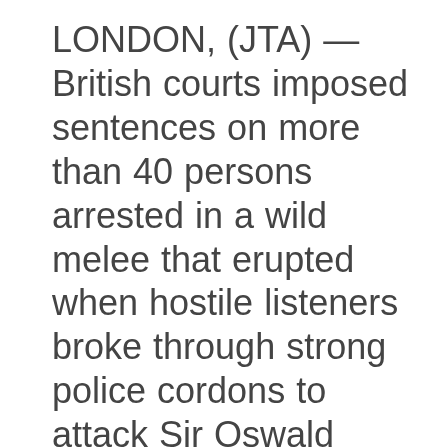LONDON, (JTA) — British courts imposed sentences on more than 40 persons arrested in a wild melee that erupted when hostile listeners broke through strong police cordons to attack Sir Oswald Mosley and smash a meeting of his fascist Union Movement in the heavily Jewish East End section of London. Mosley had originally planned a march thrOugh that section, but was forced to cancel that